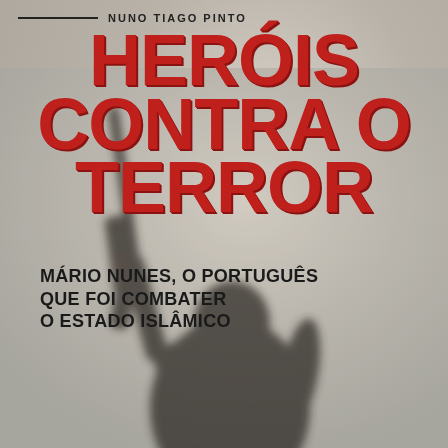NUNO TIAGO PINTO
HERÓIS CONTRA O TERROR
MÁRIO NUNES, O PORTUGUÊS QUE FOI COMBATER O ESTADO ISLÂMICO
[Figure (photo): Black and white shadow silhouette of a person holding a rifle raised in the air, viewed from behind against a light textured concrete-like background]